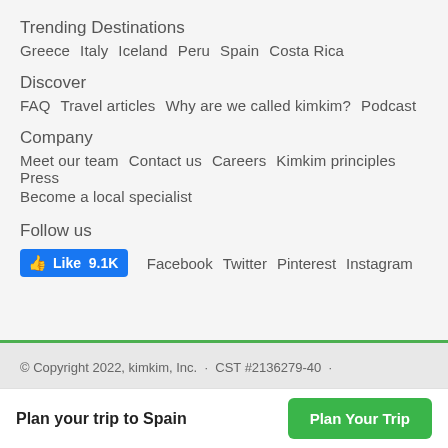Trending Destinations
Greece   Italy   Iceland   Peru   Spain   Costa Rica
Discover
FAQ   Travel articles   Why are we called kimkim?   Podcast
Company
Meet our team   Contact us   Careers   Kimkim principles   Press   Become a local specialist
Follow us
Like 9.1K   Facebook   Twitter   Pinterest   Instagram
© Copyright 2022, kimkim, Inc.  ·  CST #2136279-40  ·
Plan your trip to Spain
Plan Your Trip